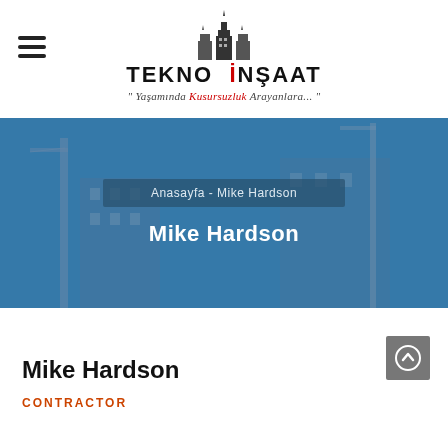[Figure (logo): Tekno İnşaat company logo with building silhouette icon, bold uppercase text 'TEKNO İNŞAAT', and italic tagline in Turkish]
"Yaşamında Kusursuzluk Arayanlara..."
[Figure (photo): Construction site photo with cranes and building structure under blue sky, overlaid with semi-transparent blue tint]
Anasayfa  -  Mike Hardson
Mike Hardson
Mike Hardson
CONTRACTOR